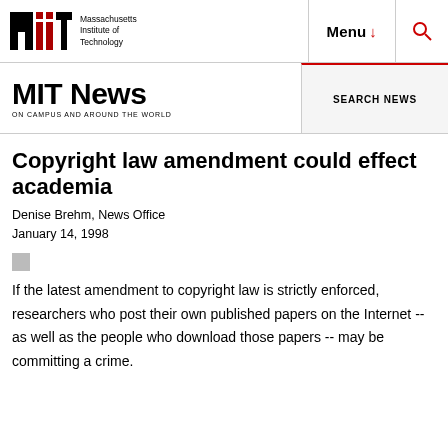Massachusetts Institute of Technology | Menu | Search
MIT News ON CAMPUS AND AROUND THE WORLD | SEARCH NEWS
Copyright law amendment could effect academia
Denise Brehm, News Office
January 14, 1998
If the latest amendment to copyright law is strictly enforced, researchers who post their own published papers on the Internet -- as well as the people who download those papers -- may be committing a crime.